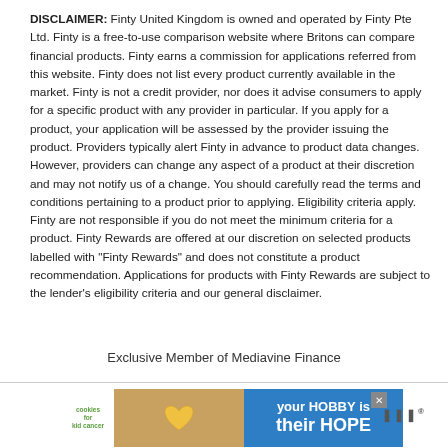DISCLAIMER: Finty United Kingdom is owned and operated by Finty Pte Ltd. Finty is a free-to-use comparison website where Britons can compare financial products. Finty earns a commission for applications referred from this website. Finty does not list every product currently available in the market. Finty is not a credit provider, nor does it advise consumers to apply for a specific product with any provider in particular. If you apply for a product, your application will be assessed by the provider issuing the product. Providers typically alert Finty in advance to product data changes. However, providers can change any aspect of a product at their discretion and may not notify us of a change. You should carefully read the terms and conditions pertaining to a product prior to applying. Eligibility criteria apply. Finty are not responsible if you do not meet the minimum criteria for a product. Finty Rewards are offered at our discretion on selected products labelled with "Finty Rewards" and does not constitute a product recommendation. Applications for products with Finty Rewards are subject to the lender's eligibility criteria and our general disclaimer.
Exclusive Member of Mediavine Finance
[Figure (other): Advertisement banner: green background with cookies for kid cancer circle logo on left, photo of hands holding a yellow heart in the middle, blue section on right with text 'your HOBBY is their HOPE']